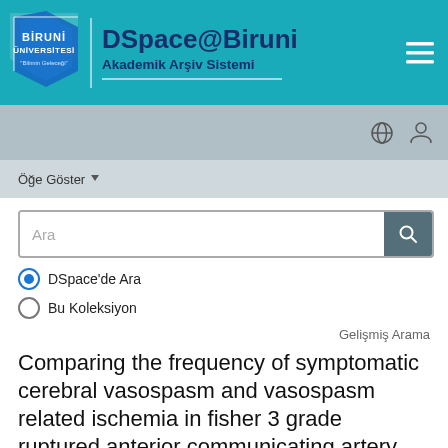[Figure (logo): Biruni Üniversitesi logo with geometric shapes and DSpace@Biruni header with subtitle Akademik Arşiv Sistemi]
DSpace@Biruni - Akademik Arşiv Sistemi
Öğe Göster
DSpace'de Ara
Bu Koleksiyon
Gelişmiş Arama
Comparing the frequency of symptomatic cerebral vasospasm and vasospasm related ischemia in fisher 3 grade ruptured anterior communicating artery aneurysms treated via microsurgical clipping or endovascular